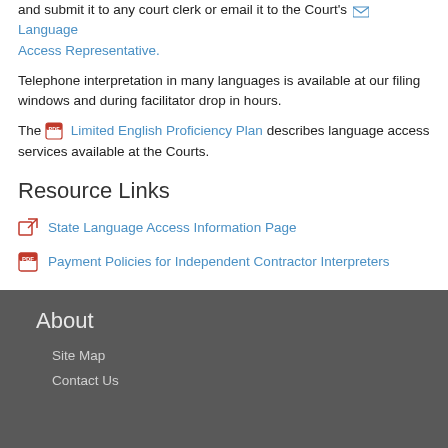and submit it to any court clerk or email it to the Court's Language Access Representative.
Telephone interpretation in many languages is available at our filing windows and during facilitator drop in hours.
The Limited English Proficiency Plan describes language access services available at the Courts.
Resource Links
State Language Access Information Page
Payment Policies for Independent Contractor Interpreters
About
Site Map
Contact Us